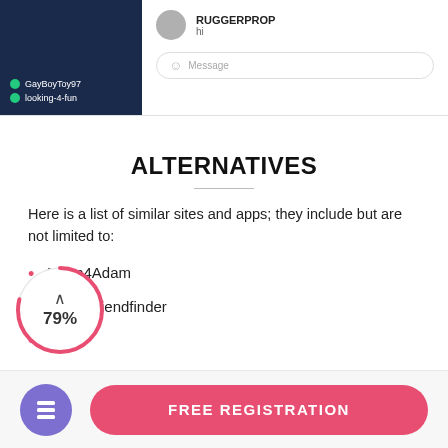[Figure (screenshot): Chat interface screenshot showing user list on dark blue left panel (GayBoyToy97, looking-4-fun) and chat with RUGGERPROP saying 'hi' with a message input box]
ALTERNATIVES
Here is a list of similar sites and apps; they include but are not limited to:
Adam4Adam
Adultfriendfinder
ANG
[Figure (infographic): Circular progress indicator showing 79% with an upward chevron arrow inside, styled in red/pink outline on white background]
FREE REGISTRATION